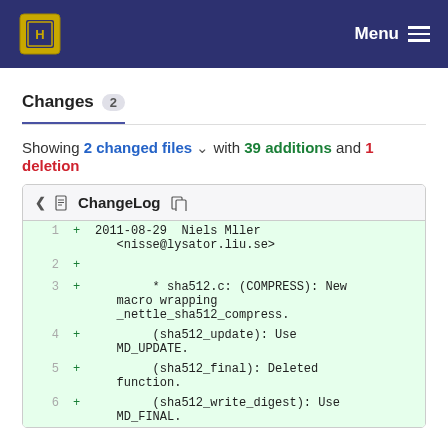Menu
Changes 2
Showing 2 changed files with 39 additions and 1 deletion
ChangeLog
1 + 2011-08-29  Niels Mller <nisse@lysator.liu.se>
2 +
3 +        * sha512.c: (COMPRESS): New macro wrapping _nettle_sha512_compress.
4 +        (sha512_update): Use MD_UPDATE.
5 +        (sha512_final): Deleted function.
6 +        (sha512_write_digest): Use MD FINAL.